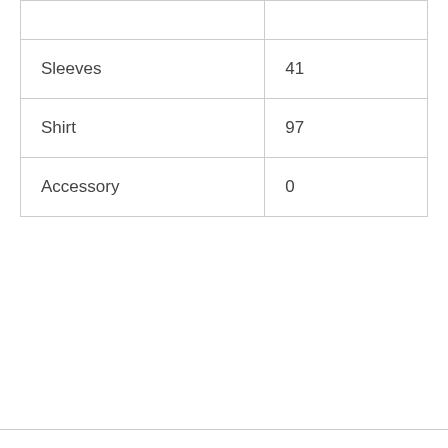|  |  |
| Sleeves | 41 |
| Shirt | 97 |
| Accessory | 0 |